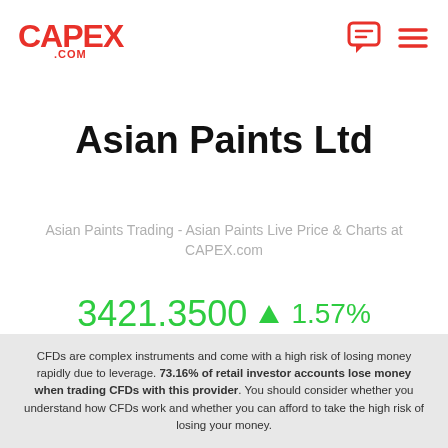CAPEX.COM
Asian Paints Ltd
Asian Paints Trading - Asian Paints Live Price & Charts at CAPEX.com
3421.3500 ▲ 1.57%
CFDs are complex instruments and come with a high risk of losing money rapidly due to leverage. 73.16% of retail investor accounts lose money when trading CFDs with this provider. You should consider whether you understand how CFDs work and whether you can afford to take the high risk of losing your money.